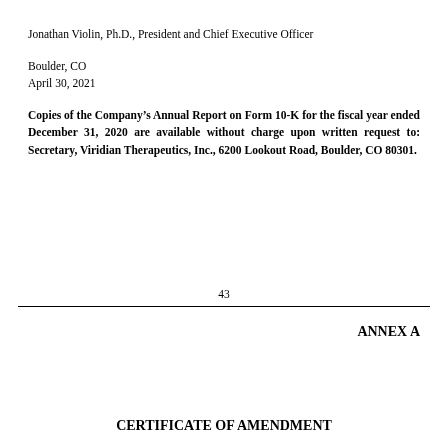Jonathan Violin, Ph.D., President and Chief Executive Officer
Boulder, CO
April 30, 2021
Copies of the Company’s Annual Report on Form 10-K for the fiscal year ended December 31, 2020 are available without charge upon written request to: Secretary, Viridian Therapeutics, Inc., 6200 Lookout Road, Boulder, CO 80301.
43
ANNEX A
CERTIFICATE OF AMENDMENT